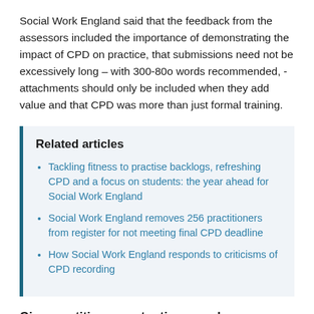Social Work England said that the feedback from the assessors included the importance of demonstrating the impact of CPD on practice, that submissions need not be excessively long – with 300-80o words recommended, - attachments should only be included when they add value and that CPD was more than just formal training.
Related articles
Tackling fitness to practise backlogs, refreshing CPD and a focus on students: the year ahead for Social Work England
Social Work England removes 256 practitioners from register for not meeting final CPD deadline
How Social Work England responds to criticisms of CPD recording
Give practitioners extra time, employers